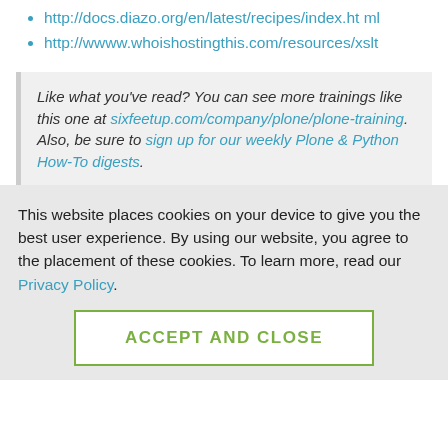http://docs.diazo.org/en/latest/recipes/index.html
http://wwww.whoishostingthis.com/resources/xslt
Like what you've read? You can see more trainings like this one at sixfeetup.com/company/plone/plone-training. Also, be sure to sign up for our weekly Plone & Python How-To digests.
This website places cookies on your device to give you the best user experience. By using our website, you agree to the placement of these cookies. To learn more, read our Privacy Policy.
ACCEPT AND CLOSE